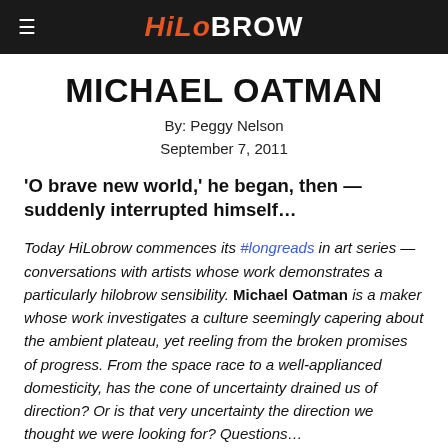HiLoBROW
MICHAEL OATMAN
By: Peggy Nelson
September 7, 2011
'O brave new world,' he began, then — suddenly interrupted himself…
Today HiLobrow commences its #longreads in art series — conversations with artists whose work demonstrates a particularly hilobrow sensibility. Michael Oatman is a maker whose work investigates a culture seemingly capering about the ambient plateau, yet reeling from the broken promises of progress. From the space race to a well-applianced domesticity, has the cone of uncertainty drained us of direction? Or is that very uncertainty the direction we thought we were looking for? Questions…